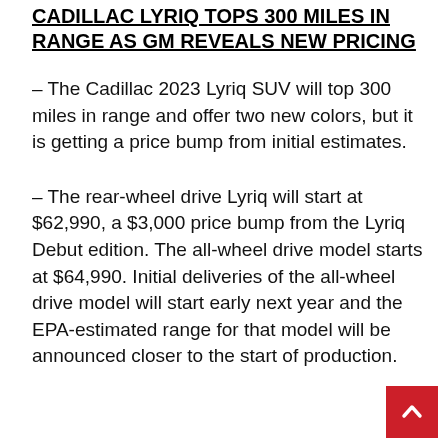CADILLAC LYRIQ TOPS 300 MILES IN RANGE AS GM REVEALS NEW PRICING
– The Cadillac 2023 Lyriq SUV will top 300 miles in range and offer two new colors, but it is getting a price bump from initial estimates.
– The rear-wheel drive Lyriq will start at $62,990, a $3,000 price bump from the Lyriq Debut edition. The all-wheel drive model starts at $64,990. Initial deliveries of the all-wheel drive model will start early next year and the EPA-estimated range for that model will be announced closer to the start of production.